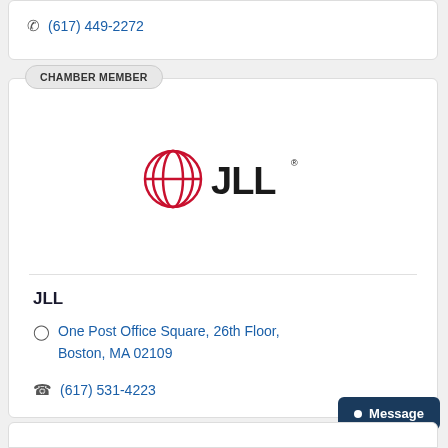(617) 449-2272
CHAMBER MEMBER
[Figure (logo): JLL logo — red oval globe icon followed by bold black letters JLL with a trademark symbol]
JLL
One Post Office Square, 26th Floor, Boston, MA 02109
(617) 531-4223
Message